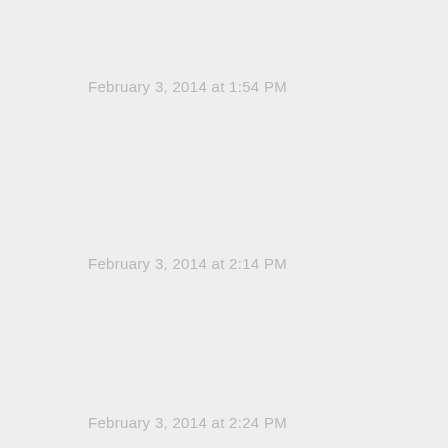February 3, 2014 at 1:54 PM
February 3, 2014 at 2:14 PM
February 3, 2014 at 2:24 PM